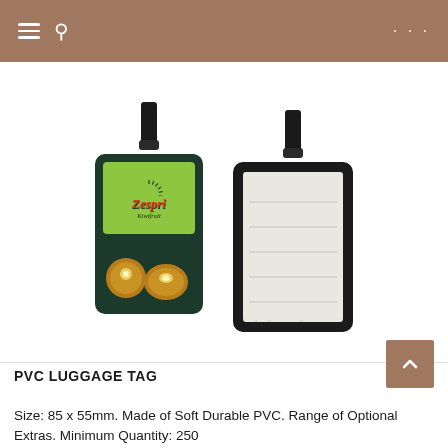Navigation header with hamburger menu, search icon, and dots menu
[Figure (photo): Two PVC luggage tags shown front and back. Front tag shows Zespri Kiwifruit branding with green label and kiwi fruit images on dark green tag body with black strap. Back tag shows white/cream info card with lines for Name, Address, Phone fields on black tag body with black strap.]
PVC LUGGAGE TAG
Size: 85 x 55mm. Made of Soft Durable PVC. Range of Optional Extras. Minimum Quantity: 250